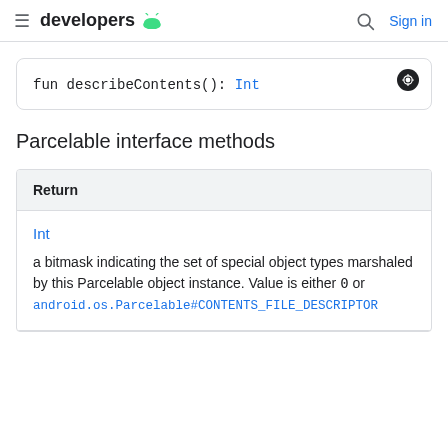developers | Sign in
fun describeContents(): Int
Parcelable interface methods
| Return |
| --- |
| Int |
| a bitmask indicating the set of special object types marshaled by this Parcelable object instance. Value is either 0 or android.os.Parcelable#CONTENTS_FILE_DESCRIPTOR |